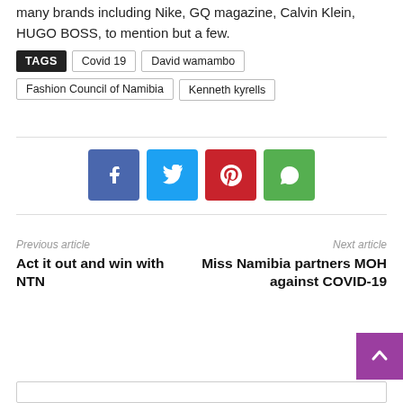many brands including Nike, GQ magazine, Calvin Klein, HUGO BOSS, to mention but a few.
TAGS  Covid 19  David wamambo  Fashion Council of Namibia  Kenneth kyrells
[Figure (infographic): Social share buttons: Facebook (blue), Twitter (light blue), Pinterest (red), WhatsApp (green)]
Previous article
Act it out and win with NTN
Next article
Miss Namibia partners MOH against COVID-19